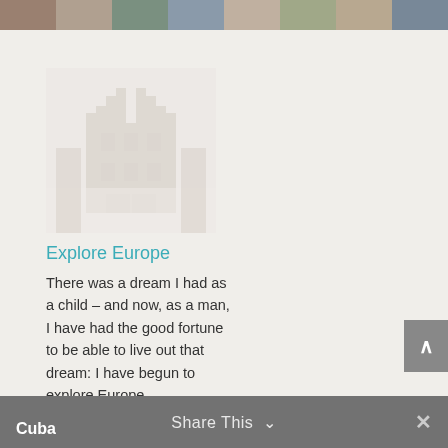[Figure (photo): Top banner with multiple photo strip segments showing travel scenes]
[Figure (photo): Faded/misty photograph of a European building with stepped gable roof architecture]
Explore Europe
There was a dream I had as a child – and now, as a man, I have had the good fortune to be able to live out that dream: I have begun to explore Europe...
Share This
Cuba